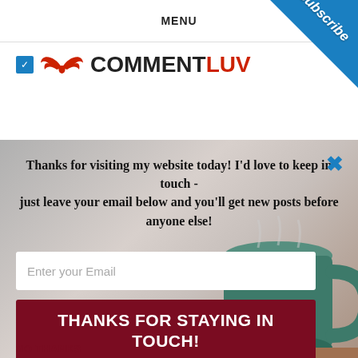MENU
[Figure (logo): CommentLuv logo with red wings and checkbox]
[Figure (photo): Popup overlay with blurred coffee mug background]
Thanks for visiting my website today! I'd love to keep in touch - just leave your email below and you'll get new posts before anyone else!
Enter your Email
THANKS FOR STAYING IN TOUCH!
NO THANKS